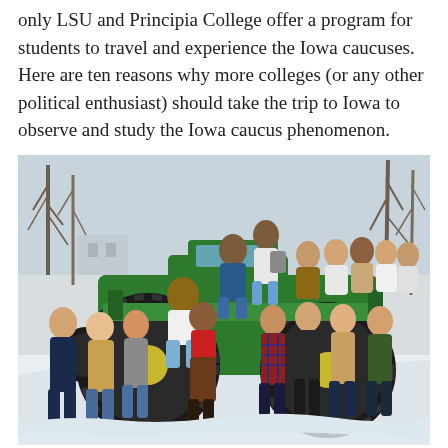only LSU and Principia College offer a program for students to travel and experience the Iowa caucuses. Here are ten reasons why more colleges (or any other political enthusiast) should take the trip to Iowa to observe and study the Iowa caucus phenomenon.
[Figure (photo): Group of college students posing on and around a green John Deere tractor in a snowy outdoor setting. Approximately 15-16 young people, mostly women, dressed in winter coats and scarves. One male student sits on top of the large rear tractor tire, another stands on the tractor. Trees are visible in the background.]